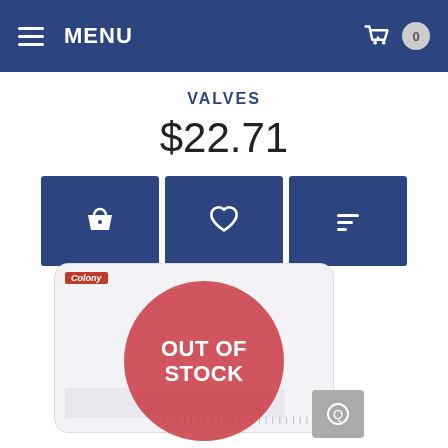MENU | Cart: 0
VALVES
$22.71
[Figure (infographic): Three dark blue action buttons: add to basket (basket icon), add to wishlist (heart icon), compare (lines icon)]
Write Review
[Figure (photo): Product package (valves) with a large red 'OUT OF STOCK' circle overlay on the packaging image. A small grey button is visible at the bottom right.]